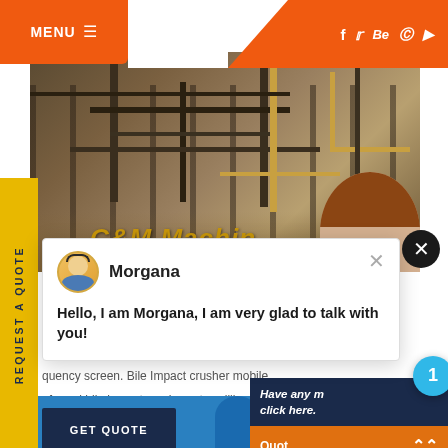MENU  ☰
[Figure (screenshot): Website screenshot of C&M Machinery with orange header, social icons, hero industrial image, yellow REQUEST A QUOTE sidebar, chat popup with Morgana avatar, right panel with Enquiry and drobilkalm sections]
Morgana
Hello, I am Morgana, I am very glad to talk with you!
quency screen. Bile Impact crusher mobile nforced bile impact crusher mtw milling ma een. Bile Cone Crusher Spiral Classifier Hig
GET QUOTE
Have any   click here.
Quot
Enquiry
drobilkalm